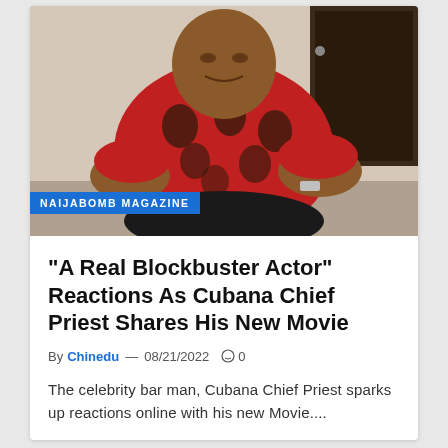[Figure (photo): A heavyset man wearing a red patterned shirt with gold chain necklace, seated, photographed indoors. A blue label overlay reads NAIJABOMB MAGAZINE at the bottom left of the photo.]
NAIJABOMB MAGAZINE
“A Real Blockbuster Actor” Reactions As Cubana Chief Priest Shares His New Movie
By Chinedu — 08/21/2022  ○ 0
The celebrity bar man, Cubana Chief Priest sparks up reactions online with his new Movie....